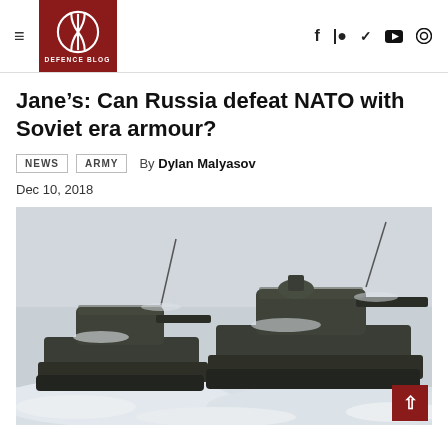Defence Blog — navigation header with logo, hamburger menu, and social icons (Facebook, Patreon, Twitter, YouTube, Search)
Jane's: Can Russia defeat NATO with Soviet era armour?
NEWS   ARMY   By Dylan Malyasov
Dec 10, 2018
[Figure (photo): Two Russian military tanks (Soviet-era T-72/T-80 type) moving through a snowy winter landscape, photographed from a low angle against a pale grey sky. The tanks have radio antennas extended and are covered in snow.]